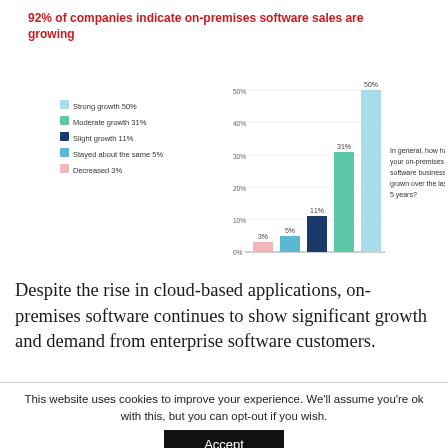92% of companies indicate on-premises software sales are growing
[Figure (bar-chart): In general, how has your on-premises software business grown over the last 5 years?]
Despite the rise in cloud-based applications, on-premises software continues to show significant growth and demand from enterprise software customers.
This website uses cookies to improve your experience. We'll assume you're ok with this, but you can opt-out if you wish. Accept